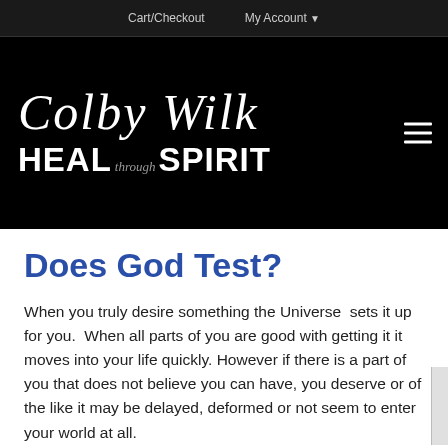Cart/Checkout   My Account
[Figure (logo): Colby Wilk Heal through Spirit logo in white script and bold text on black background with hamburger menu icon]
Does God Test?
When you truly desire something the Universe  sets it up for you.  When all parts of you are good with getting it it moves into your life quickly. However if there is a part of you that does not believe you can have, you deserve or of the like it may be delayed, deformed or not seem to enter your world at all.